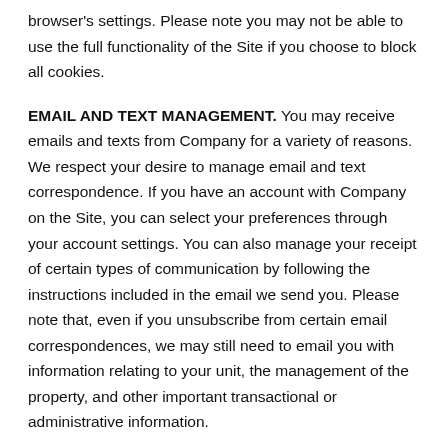browser's settings. Please note you may not be able to use the full functionality of the Site if you choose to block all cookies.
EMAIL AND TEXT MANAGEMENT. You may receive emails and texts from Company for a variety of reasons. We respect your desire to manage email and text correspondence. If you have an account with Company on the Site, you can select your preferences through your account settings. You can also manage your receipt of certain types of communication by following the instructions included in the email we send you. Please note that, even if you unsubscribe from certain email correspondences, we may still need to email you with information relating to your unit, the management of the property, and other important transactional or administrative information.
THIRD-PARTY WEBSITES. This Privacy Policy applies solely to